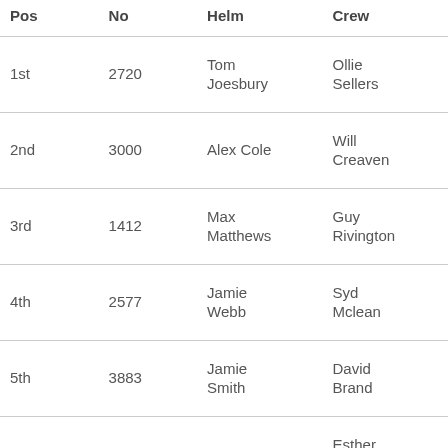| Pos | No | Helm | Crew |
| --- | --- | --- | --- |
| 1st | 2720 | Tom Joesbury | Ollie Sellers |
| 2nd | 3000 | Alex Cole | Will Creaven |
| 3rd | 1412 | Max Matthews | Guy Rivington |
| 4th | 2577 | Jamie Webb | Syd Mclean |
| 5th | 3883 | Jamie Smith | David Brand |
| 6th | 3750 | Jenny Smallwood | Esther Fenton-Jones |